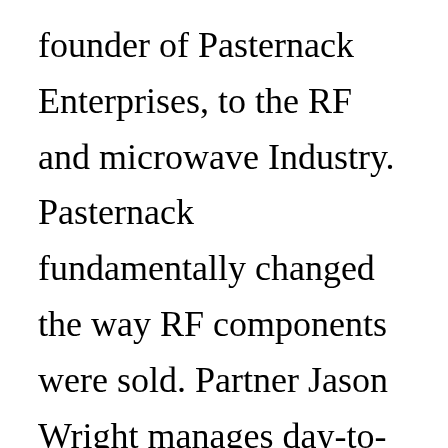founder of Pasternack Enterprises, to the RF and microwave Industry. Pasternack fundamentally changed the way RF components were sold. Partner Jason Wright manages day-to-day operations, while working